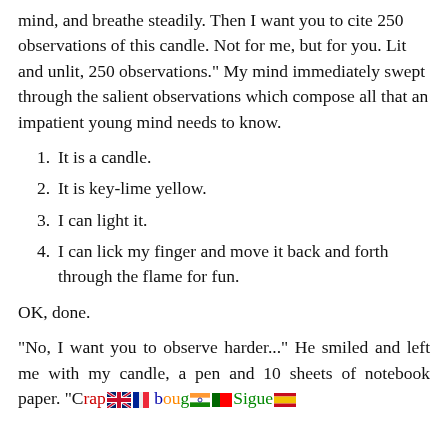mind, and breathe steadily. Then I want you to cite 250 observations of this candle. Not for me, but for you. Lit and unlit, 250 observations." My mind immediately swept through the salient observations which compose all that an impatient young mind needs to know.
1.  It is a candle.
2.  It is key-lime yellow.
3.  I can light it.
4.  I can lick my finger and move it back and forth through the flame for fun.
OK, done.
“No, I want you to observe harder...”  He smiled and left me with my candle,  a pen and 10 sheets of  notebook  paper.  “C[flags]